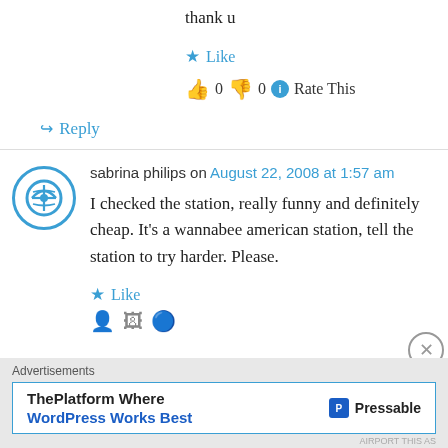thank u
★ Like
👍 0 👎 0 ℹ Rate This
↪ Reply
sabrina philips on August 22, 2008 at 1:57 am
I checked the station, really funny and definitely cheap. It's a wannabee american station, tell the station to try harder. Please.
★ Like
Advertisements
ThePlatform Where WordPress Works Best  P Pressable